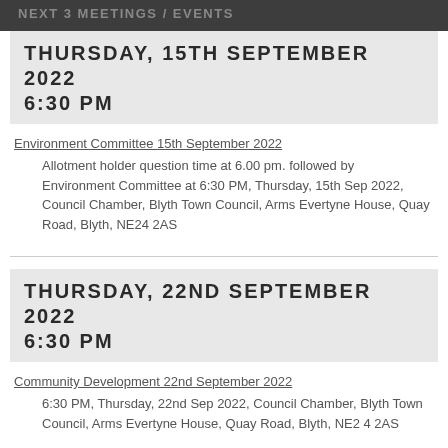NEXT 3 MEETINGS / EVENTS
THURSDAY, 15TH SEPTEMBER 2022
6:30 PM
Environment Committee 15th September 2022
Allotment holder question time at 6.00 pm. followed by Environment Committee at 6:30 PM, Thursday, 15th Sep 2022, Council Chamber, Blyth Town Council, Arms Evertyne House, Quay Road, Blyth, NE24 2AS
THURSDAY, 22ND SEPTEMBER 2022
6:30 PM
Community Development 22nd September 2022
6:30 PM, Thursday, 22nd Sep 2022, Council Chamber, Blyth Town Council, Arms Evertyne House, Quay Road, Blyth, NE24 2AS